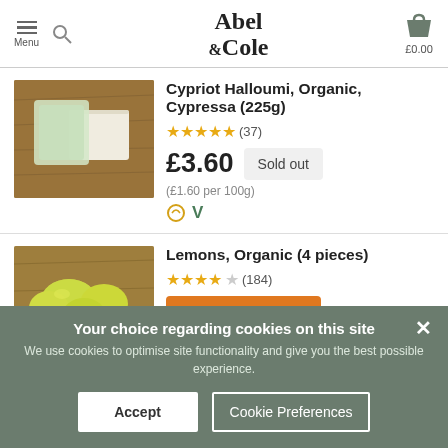Abel & Cole — Menu | £0.00
Cypriot Halloumi, Organic, Cypressa (225g) ★★★★★ (37) £3.60 Sold out (£1.60 per 100g)
Lemons, Organic (4 pieces) ★★★★☆ (184)
Your choice regarding cookies on this site
We use cookies to optimise site functionality and give you the best possible experience.
Accept | Cookie Preferences